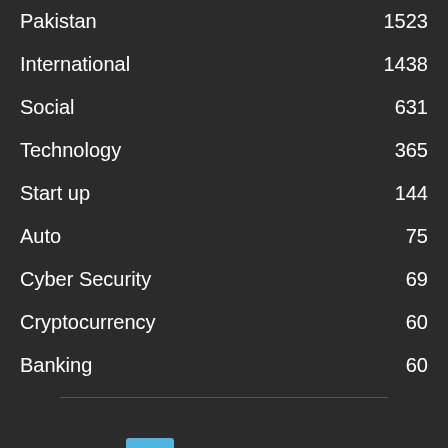Pakistan 1523
International 1438
Social 631
Technology 365
Start up 144
Auto 75
Cyber Security 69
Cryptocurrency 60
Banking 60
[Figure (logo): Technologistan logo with blue 'T' icon and white text]